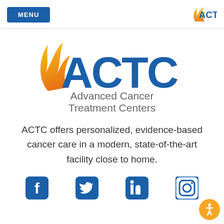MENU  ACTC
[Figure (logo): ACTC Advanced Cancer Treatment Centers logo — large blue ACTC letters with orange/yellow flame swoosh on left, subtitle 'Advanced Cancer Treatment Centers' in gray below]
ACTC offers personalized, evidence-based cancer care in a modern, state-of-the-art facility close to home.
[Figure (illustration): Social media icons row: Facebook, Twitter, LinkedIn, Instagram — all blue rounded-square style icons]